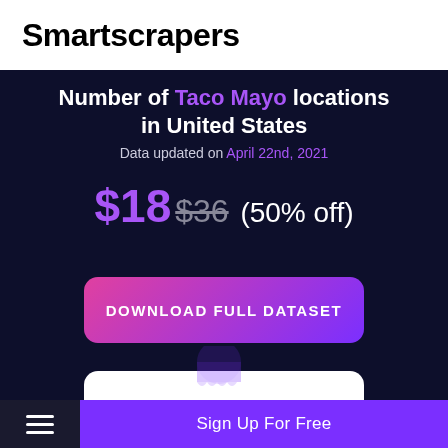Smartscrapers
Number of Taco Mayo locations in United States
Data updated on April 22nd, 2021
$18 $36 (50% off)
DOWNLOAD FULL DATASET
SEE ALL REPORTS
Sign Up For Free